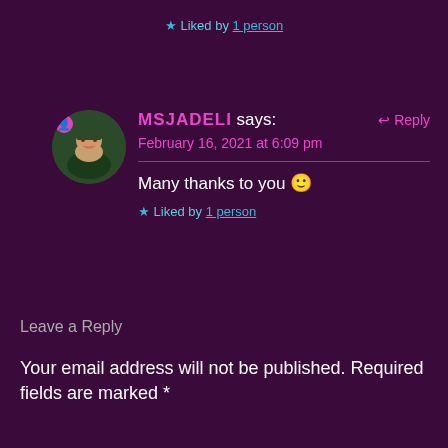★ Liked by 1 person
MSJADELI says:
February 16, 2021 at 6:09 pm
↩ Reply
Many thanks to you 🙂
★ Liked by 1 person
Leave a Reply
Your email address will not be published. Required fields are marked *